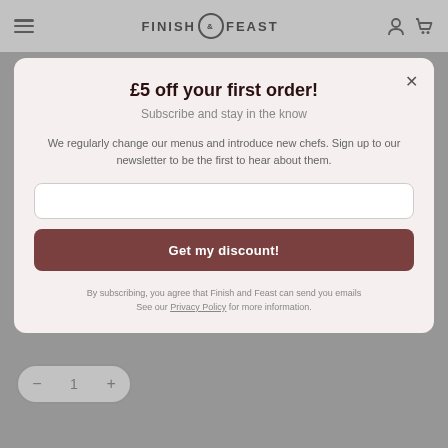FINISH & FEAST
Pickled Onion and Basil
£14.00 - Serves 2 People
There are certain foods that instantly transport you to a specific place. A mouthful of gazpacho instantly reminds you of a hot Spanish day, when a spoonful of the delicate chilled soup is extremely welcome. We've accompanied our Gazpacho with a spoonful of ricotta to cut through the soup as well as pickled shallot and baby basil to bring some sharp and herby notes to the dish. This is, quite simply, Summer in a bowl.
£5 off your first order!
Subscribe and stay in the know
We regularly change our menus and introduce new chefs. Sign up to our newsletter to be the first to hear about them.
Get my discount!
By subscribing, you agree that Finish and Feast can send you emails. See our Privacy Policy for more information.